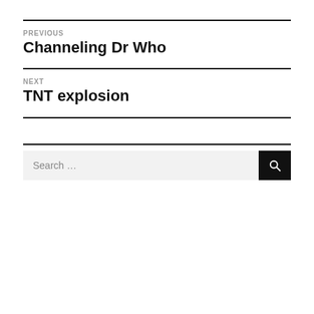PREVIOUS
Channeling Dr Who
NEXT
TNT explosion